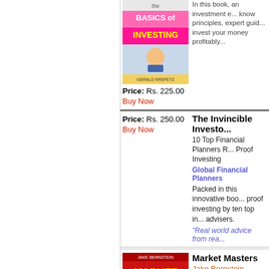[Figure (illustration): Book cover: The Basics of Investing by Gerald Krefetz]
Price: Rs. 225.00
Buy Now
Price: Rs. 250.00
Buy Now
The Invincible Investor
10 Top Financial Planners Reveal... Proof Investing
Global Financial Planners
Packed in this innovative book... proof investing by ten top international advisers.
"Real world advice from rea...
[Figure (illustration): Book cover: Market Masters by Jake Bernstein]
Market Masters
Jake Bernstein
Here is an opportunity to learn... known international traders e...
"Ranks among the greatest...